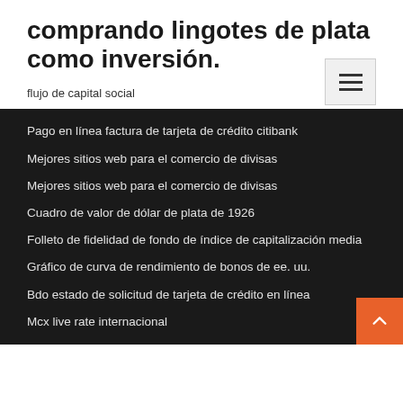comprando lingotes de plata como inversión.
flujo de capital social
Pago en línea factura de tarjeta de crédito citibank
Mejores sitios web para el comercio de divisas
Mejores sitios web para el comercio de divisas
Cuadro de valor de dólar de plata de 1926
Folleto de fidelidad de fondo de índice de capitalización media
Gráfico de curva de rendimiento de bonos de ee. uu.
Bdo estado de solicitud de tarjeta de crédito en línea
Mcx live rate internacional